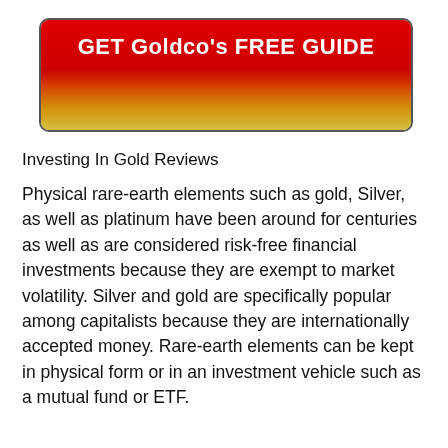[Figure (other): Red-to-gold gradient button with bold white text reading 'GET Goldco's FREE GUIDE']
Investing In Gold Reviews
Physical rare-earth elements such as gold, Silver, as well as platinum have been around for centuries as well as are considered risk-free financial investments because they are exempt to market volatility. Silver and gold are specifically popular among capitalists because they are internationally accepted money. Rare-earth elements can be kept in physical form or in an investment vehicle such as a mutual fund or ETF.